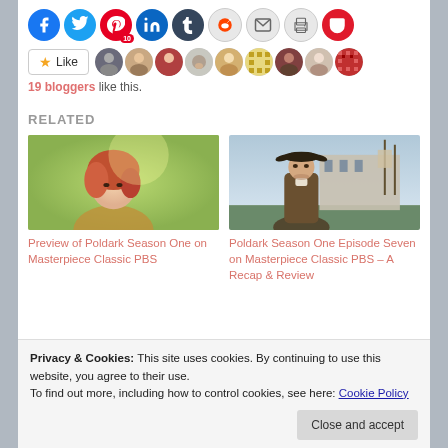[Figure (screenshot): Row of social media sharing icon circles: Facebook, Twitter, Pinterest (with badge 10), LinkedIn, Tumblr, Reddit, Email, Print, Pocket]
[Figure (screenshot): Like button with star icon and a strip of 9 blogger avatars]
19 bloggers like this.
RELATED
[Figure (photo): Red-haired woman outdoors, blurred background]
Preview of Poldark Season One on Masterpiece Classic PBS
[Figure (photo): Man in tricorn hat standing near sailing ship]
Poldark Season One Episode Seven on Masterpiece Classic PBS – A Recap & Review
Privacy & Cookies: This site uses cookies. By continuing to use this website, you agree to their use.
To find out more, including how to control cookies, see here: Cookie Policy
Close and accept